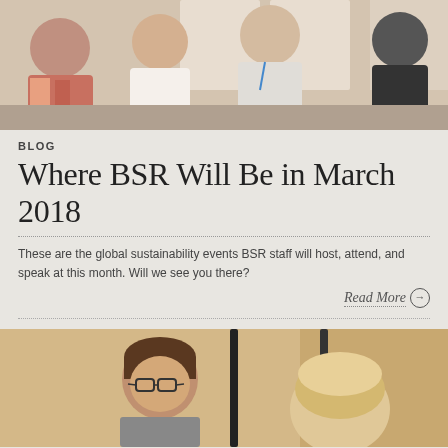[Figure (photo): People seated at a conference/meeting, viewed from behind, looking at a presentation board]
BLOG
Where BSR Will Be in March 2018
These are the global sustainability events BSR staff will host, attend, and speak at this month. Will we see you there?
Read More →
[Figure (photo): Two people at a conference, one with glasses, seated near a microphone stand]